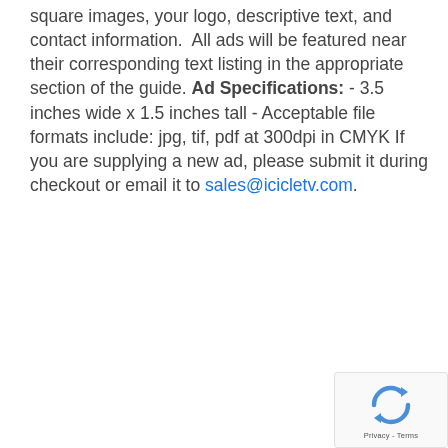square images, your logo, descriptive text, and contact information.  All ads will be featured near their corresponding text listing in the appropriate section of the guide. Ad Specifications: - 3.5 inches wide x 1.5 inches tall - Acceptable file formats include: jpg, tif, pdf at 300dpi in CMYK If you are supplying a new ad, please submit it during checkout or email it to sales@icicletv.com.
[Figure (logo): reCAPTCHA badge with circular arrow logo and Privacy - Terms text]